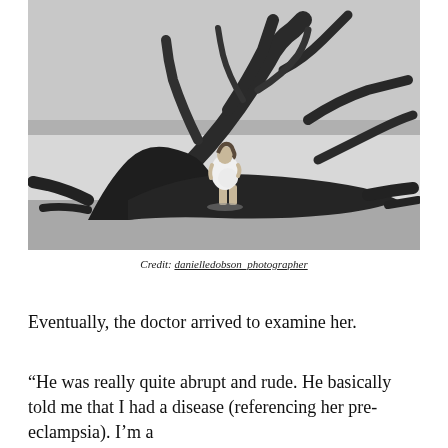[Figure (photo): Black and white photograph of a pregnant woman in a white dress standing in front of a large driftwood tree root on a beach, with water visible in the background.]
Credit: danielledobson_photographer
Eventually, the doctor arrived to examine her.
“He was really quite abrupt and rude. He basically told me that I had a disease (referencing her pre-eclampsia). I’m a